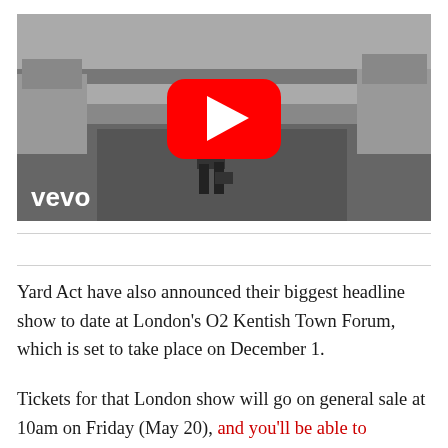[Figure (screenshot): YouTube video thumbnail showing a black and white photo of a man walking on a street, with a YouTube play button overlay and the Vevo logo in the bottom left corner.]
Yard Act have also announced their biggest headline show to date at London's O2 Kentish Town Forum, which is set to take place on December 1.
Tickets for that London show will go on general sale at 10am on Friday (May 20), and you'll be able to